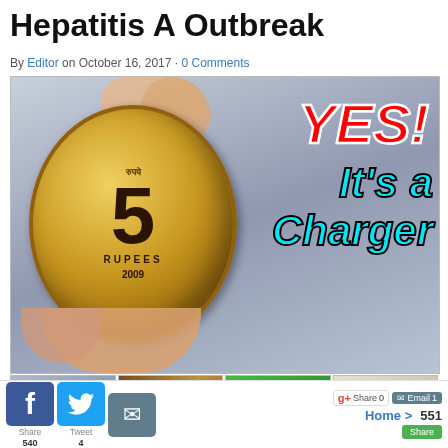Hepatitis A Outbreak
By Editor on October 16, 2017 · 0 Comments
[Figure (photo): A hand holding a 5 Rupees coin (2009), with overlaid text 'YES! It's a Charger' in bold colored fonts]
[Figure (photo): Thumbnail strip showing 4 related video thumbnails including the coin charger video, a gold pattern, two boys with frozen water, and a circular icon]
Share 540  Tweet 4  Share 0  Email 1  Home > Share 551